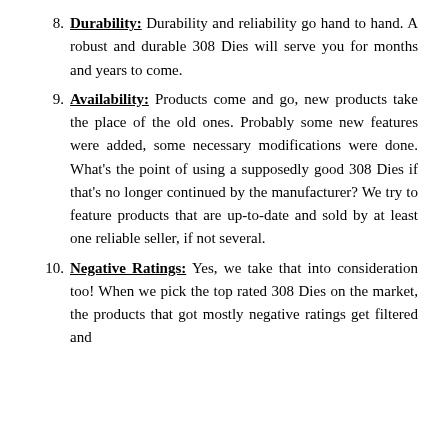8. Durability: Durability and reliability go hand to hand. A robust and durable 308 Dies will serve you for months and years to come.
9. Availability: Products come and go, new products take the place of the old ones. Probably some new features were added, some necessary modifications were done. What’s the point of using a supposedly good 308 Dies if that’s no longer continued by the manufacturer? We try to feature products that are up-to-date and sold by at least one reliable seller, if not several.
10. Negative Ratings: Yes, we take that into consideration too! When we pick the top rated 308 Dies on the market, the products that got mostly negative ratings get filtered and eliminated.